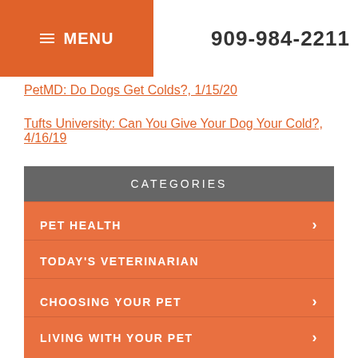≡ MENU   909-984-2211
PetMD: Do Dogs Get Colds?, 1/15/20
Tufts University: Can You Give Your Dog Your Cold?, 4/16/19
CATEGORIES
PET HEALTH
TODAY'S VETERINARIAN
CHOOSING YOUR PET
LIVING WITH YOUR PET
NEWSLETTER LIBRARY
VIDEO NEWSROOM